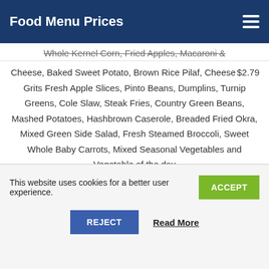Food Menu Prices
Whole Kernel Corn, Fried Apples, Macaroni & Cheese, Baked Sweet Potato, Brown Rice Pilaf, Cheese Grits Fresh Apple Slices, Pinto Beans, Dumplins, Turnip Greens, Cole Slaw, Steak Fries, Country Green Beans, Mashed Potatoes, Hashbrown Caserole, Breaded Fried Okra, Mixed Green Side Salad, Fresh Steamed Broccoli, Sweet Whole Baby Carrots, Mixed Seasonal Vegetables and Vegetable of the day $2.79
| Item | Price |
| --- | --- |
| Baked Potato | $2.99 |
| Country Vegetable Plate | $7.99 |
| Side of Soup | $1.89 |
This website uses cookies for a better user experience.
ACCEPT
REJECT
Read More